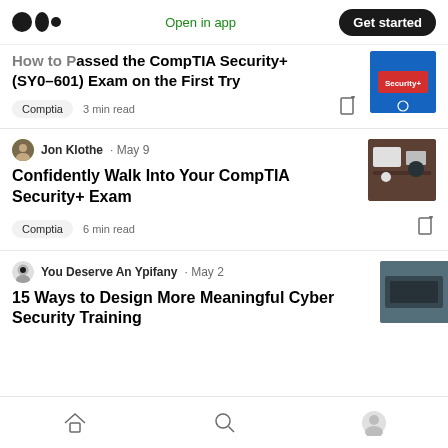Open in app | Get started
How to Passed the CompTIA Security+ (SY0-601) Exam on the First Try
Comptia · 3 min read
Jon Klothe · May 9
Confidently Walk Into Your CompTIA Security+ Exam
Comptia · 6 min read
You Deserve An Ypifany · May 2
15 Ways to Design More Meaningful Cyber Security Training
Home | Search | Profile